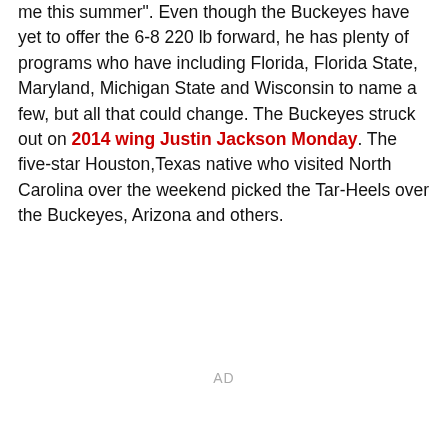me this summer". Even though the Buckeyes have yet to offer the 6-8 220 lb forward, he has plenty of programs who have including Florida, Florida State, Maryland, Michigan State and Wisconsin to name a few, but all that could change. The Buckeyes struck out on 2014 wing Justin Jackson Monday. The five-star Houston,Texas native who visited North Carolina over the weekend picked the Tar-Heels over the Buckeyes, Arizona and others.
AD